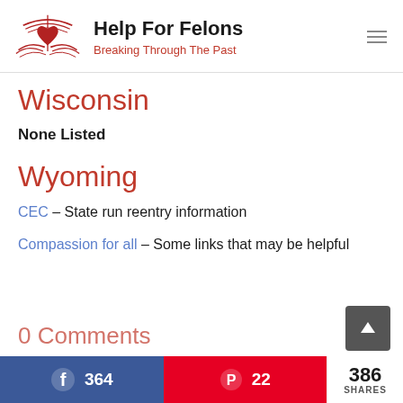[Figure (logo): Help For Felons website logo with heart/book icon in red and site name 'Help For Felons' with tagline 'Breaking Through The Past']
Wisconsin
None Listed
Wyoming
CEC – State run reentry information
Compassion for all – Some links that may be helpful
0 Comments | Facebook 364 | Pinterest 22 | 386 SHARES